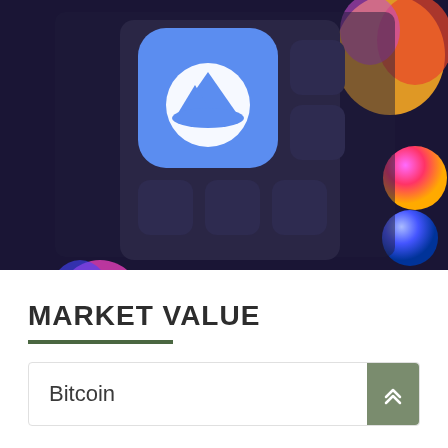[Figure (illustration): Screenshot of a mobile app screen showing NordVPN app icon (blue rounded square with white mountain/shield logo) on a dark smartphone home screen grid, with colorful liquid/blob shapes on the right side against a dark purple background.]
MARKET VALUE
Bitcoin